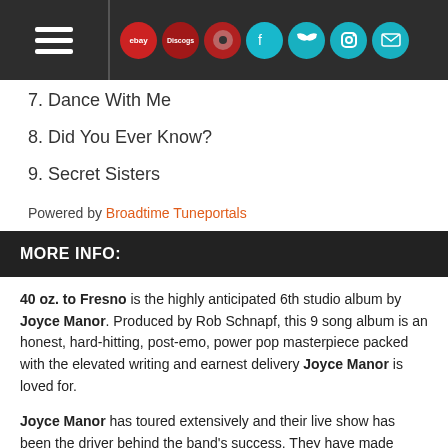Navigation header with hamburger menu and social icons: eBay, Discogs, record, Facebook, Twitter, Instagram, email
7. Dance With Me
8. Did You Ever Know?
9. Secret Sisters
Powered by Broadtime Tuneportals
MORE INFO:
40 oz. to Fresno is the highly anticipated 6th studio album by Joyce Manor. Produced by Rob Schnapf, this 9 song album is an honest, hard-hitting, post-emo, power pop masterpiece packed with the elevated writing and earnest delivery Joyce Manor is loved for.
Joyce Manor has toured extensively and their live show has been the driver behind the band's success. They have made festival appearances at FYF Fest, Coachella, Riot Fest and since the release of their studio album in 2018, the band has headlined NYC Central Park SummerStage, sold out two nights at the Palladium in LA, and sold out